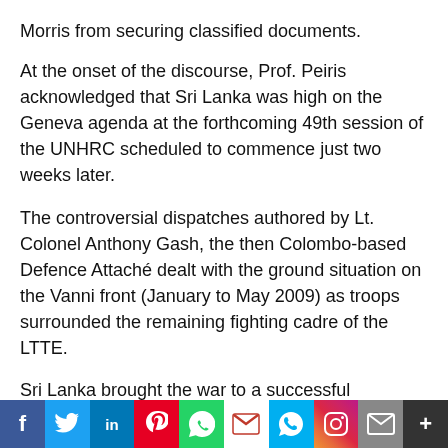Morris from securing classified documents.
At the onset of the discourse, Prof. Peiris acknowledged that Sri Lanka was high on the Geneva agenda at the forthcoming 49th session of the UNHRC scheduled to commence just two weeks later.
The controversial dispatches authored by Lt. Colonel Anthony Gash, the then Colombo-based Defence Attaché dealt with the ground situation on the Vanni front (January to May 2009) as troops surrounded the remaining fighting cadre of the LTTE.
Sri Lanka brought the war to a successful conclusion on May 19, 2009 on the banks of the Nanthikadal lagoon.
Emphasising the importance of the British dispatches sent simultaneously as the fighting was taking place on the Vanni